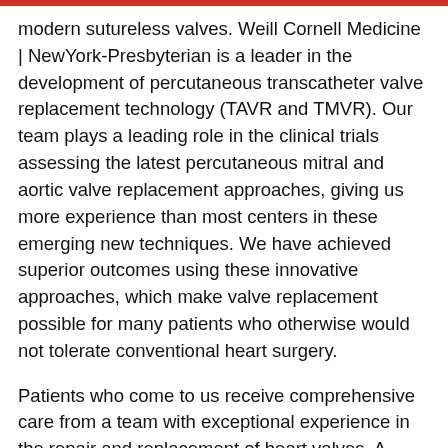modern sutureless valves. Weill Cornell Medicine | NewYork-Presbyterian is a leader in the development of percutaneous transcatheter valve replacement technology (TAVR and TMVR). Our team plays a leading role in the clinical trials assessing the latest percutaneous mitral and aortic valve replacement approaches, giving us more experience than most centers in these emerging new techniques. We have achieved superior outcomes using these innovative approaches, which make valve replacement possible for many patients who otherwise would not tolerate conventional heart surgery.
Patients who come to us receive comprehensive care from a team with exceptional experience in the repair and replacement of heart valves. A patient can meet with cardiologists, surgeons, and other healthcare professionals in one day, in one convenient location, to obtain a diagnosis and a comprehensive plan for treatment.